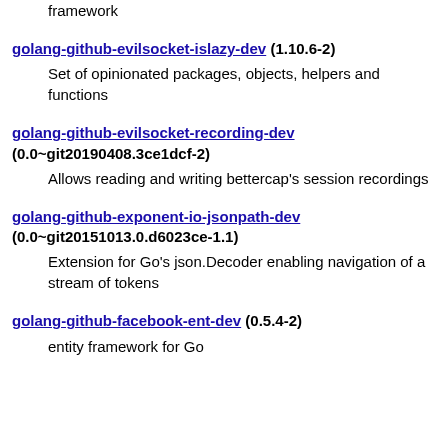framework
golang-github-evilsocket-islazy-dev (1.10.6-2)
Set of opinionated packages, objects, helpers and functions
golang-github-evilsocket-recording-dev (0.0~git20190408.3ce1dcf-2)
Allows reading and writing bettercap's session recordings
golang-github-exponent-io-jsonpath-dev (0.0~git20151013.0.d6023ce-1.1)
Extension for Go's json.Decoder enabling navigation of a stream of tokens
golang-github-facebook-ent-dev (0.5.4-2)
entity framework for Go